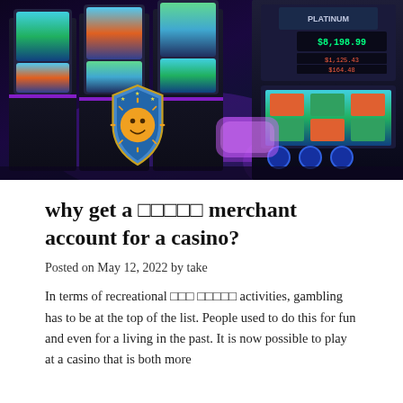[Figure (photo): Photograph of a row of colorful casino slot machines with glowing screens and purple lighting. A shield-shaped logo with a sun face is visible on the left side.]
why get a □□□□□ merchant account for a casino?
Posted on May 12, 2022 by take
In terms of recreational □□□ □□□□□ activities, gambling has to be at the top of the list. People used to do this for fun and even for a living in the past. It is now possible to play at a casino that is both more